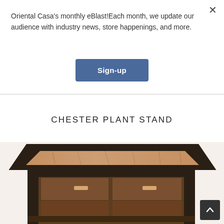Oriental Casa's monthly eBlast!Each month, we update our audience with industry news, store happenings, and more.
Sign-up
CHESTER PLANT STAND
[Figure (photo): Photo of a Chester Plant Stand — a square wooden furniture piece with dark espresso frame, walnut-toned wooden top surface, and a lower shelf with drawers featuring light-colored handles, viewed from a slight top-down angle.]